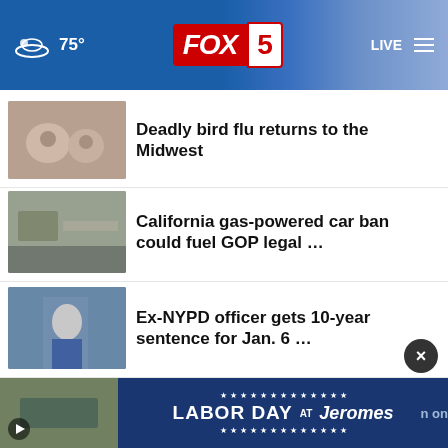FOX 5 | 75° | LIVE
Deadly bird flu returns to the Midwest
California gas-powered car ban could fuel GOP legal …
Ex-NYPD officer gets 10-year sentence for Jan. 6 …
Housing nearly unaffordable for millennials
Don't get ripped off during the heat wave
[Figure (advertisement): Labor Day at Jerome's furniture advertisement banner with stars and navy blue background, partial text 'n on' visible at right]
n on